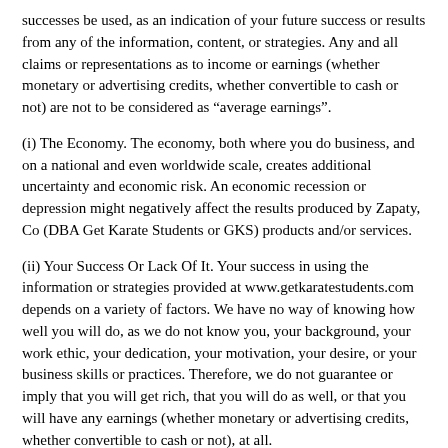successes be used, as an indication of your future success or results from any of the information, content, or strategies. Any and all claims or representations as to income or earnings (whether monetary or advertising credits, whether convertible to cash or not) are not to be considered as “average earnings”.
(i) The Economy. The economy, both where you do business, and on a national and even worldwide scale, creates additional uncertainty and economic risk. An economic recession or depression might negatively affect the results produced by Zapaty, Co (DBA Get Karate Students or GKS) products and/or services.
(ii) Your Success Or Lack Of It. Your success in using the information or strategies provided at www.getkaratestudents.com depends on a variety of factors. We have no way of knowing how well you will do, as we do not know you, your background, your work ethic, your dedication, your motivation, your desire, or your business skills or practices. Therefore, we do not guarantee or imply that you will get rich, that you will do as well, or that you will have any earnings (whether monetary or advertising credits, whether convertible to cash or not), at all.
Internet businesses and earnings derived therefrom, involve unknown risks and are not suitable for everyone. You may not rely on any information presented on the website or otherwise provided by